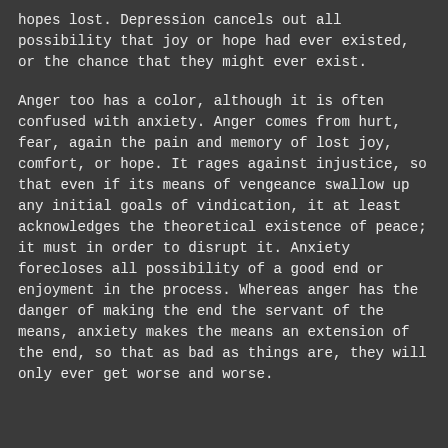hopes lost. Depression cancels out all possibility that joy or hope had ever existed, or the chance that they might ever exist.
Anger too has a color, although it is often confused with anxiety. Anger comes from hurt, fear, again the pain and memory of lost joy, comfort, or hope. It rages against injustice, so that even if its means of vengeance swallow up any initial goals of vindication, it at least acknowledges the theoretical existence of peace; it must in order to disrupt it. Anxiety forecloses all possibility of a good end or enjoyment in the process. Whereas anger has the danger of making the end the servant of the means, anxiety makes the means an extension of the end, so that as bad as things are, they will only ever get worse and worse.